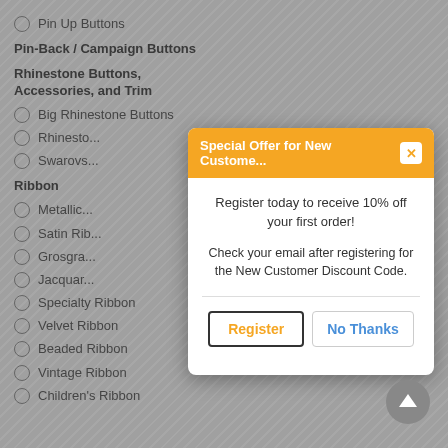Pin Up Buttons
Pin-Back / Campaign Buttons
Rhinestone Buttons, Accessories, and Trim
Big Rhinestone Buttons
Rhinesto...
Swarovs...
Ribbon
Metallic...
Satin Rib...
Grosgra...
Jacquar...
Specialty Ribbon
Velvet Ribbon
Beaded Ribbon
Vintage Ribbon
Children's Ribbon
[Figure (screenshot): Modal popup dialog: 'Special Offer for New Custome...' with orange header and close button. Body text: 'Register today to receive 10% off your first order! Check your email after registering for the New Customer Discount Code.' Two buttons: Register and No Thanks.]